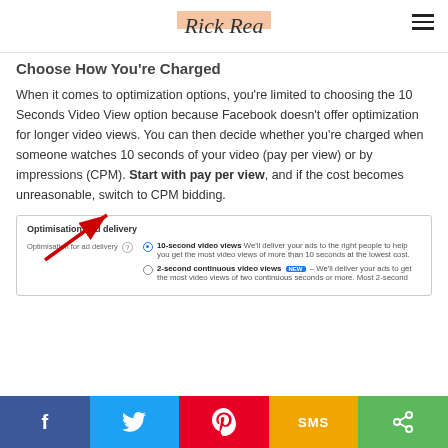Rick Rea
Choose How You're Charged
When it comes to optimization options, you're limited to choosing the 10 Seconds Video View option because Facebook doesn't offer optimization for longer video views. You can then decide whether you're charged when someone watches 10 seconds of your video (pay per view) or by impressions (CPM). Start with pay per view, and if the cost becomes unreasonable, switch to CPM bidding.
[Figure (screenshot): Screenshot of Facebook Ads 'Optimisation and delivery' section showing options for 10-second video views and 2-second continuous video views with a red arrow pointing to the selected radio button.]
Social share bar: Facebook, Twitter, Pinterest, SMS, Share